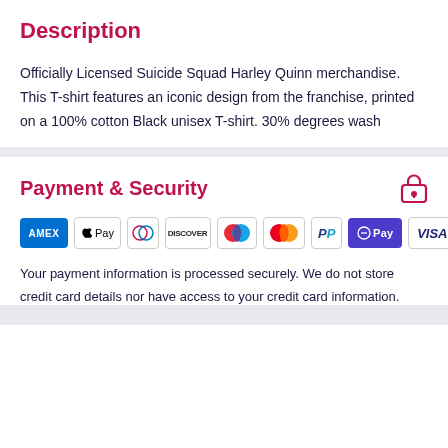Description
Officially Licensed Suicide Squad Harley Quinn merchandise. This T-shirt features an iconic design from the franchise, printed on a 100% cotton Black unisex T-shirt. 30% degrees wash
Payment & Security
[Figure (other): Payment method icons: American Express, Apple Pay, Diners Club, Discover, Maestro, Mastercard, PayPal, Google Pay, Visa]
Your payment information is processed securely. We do not store credit card details nor have access to your credit card information.